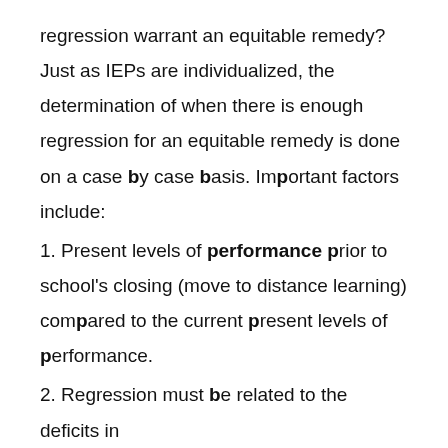regression warrant an equitable remedy? Just as IEPs are individualized, the determination of when there is enough regression for an equitable remedy is done on a case by case basis. Important factors include:
1. Present levels of performance prior to school's closing (move to distance learning) compared to the current present levels of performance.
2. Regression must be related to the deficits in